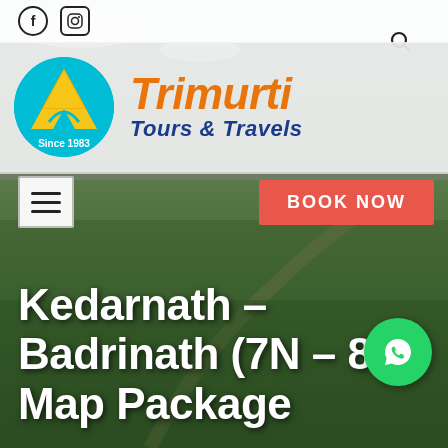[Figure (logo): Trimurti Tours & Travels logo with circular cyan badge showing mountain/road symbol and text 'Since 1983', accompanied by brand name 'Trimurti' in orange italic and 'Tours & Travels' in dark blue italic]
[Figure (photo): Mountain landscape background photo with rocky peaks, snow patches, and green alpine vegetation]
BOOK NOW
Kedarnath – Badrinath (7N – 8D) Map Package